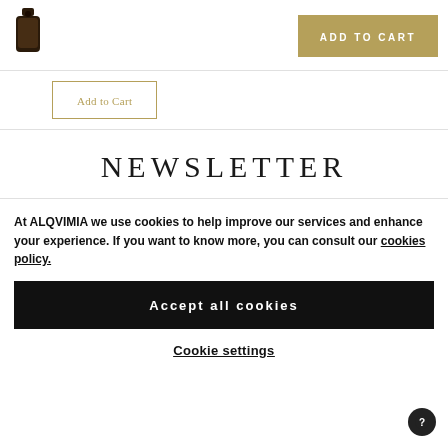ADD TO CART
[Figure (logo): Alqvimia product bottle logo]
Add to Cart
NEWSLETTER
At ALQVIMIA we use cookies to help improve our services and enhance your experience. If you want to know more, you can consult our cookies policy.
Accept all cookies
Cookie settings